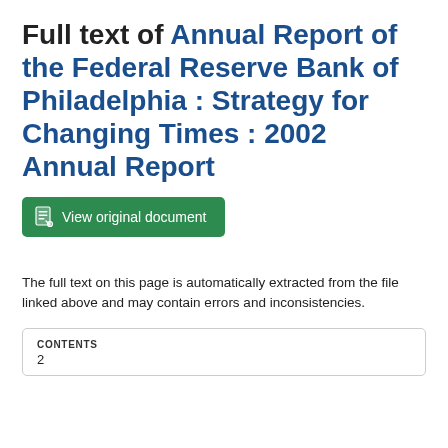Full text of Annual Report of the Federal Reserve Bank of Philadelphia : Strategy for Changing Times : 2002 Annual Report
[Figure (other): Green button labeled 'View original document' with a document icon]
The full text on this page is automatically extracted from the file linked above and may contain errors and inconsistencies.
| CONTENTS |
| --- |
| 2 |